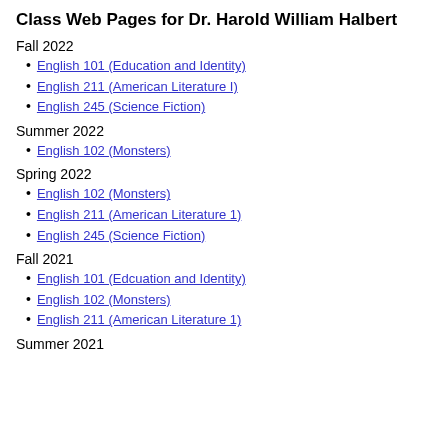Class Web Pages for Dr. Harold William Halbert
Fall 2022
English 101 (Education and Identity)
English 211 (American Literature I)
English 245 (Science Fiction)
Summer 2022
English 102 (Monsters)
Spring 2022
English 102 (Monsters)
English 211 (American Literature 1)
English 245 (Science Fiction)
Fall 2021
English 101 (Edcuation and Identity)
English 102 (Monsters)
English 211 (American Literature 1)
Summer 2021